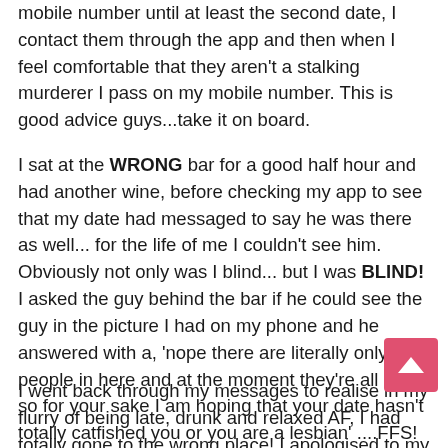mobile number until at least the second date, I contact them through the app and then when I feel comfortable that they aren't a stalking murderer I pass on my mobile number. This is good advice guys...take it on board.
I sat at the WRONG bar for a good half hour and had another wine, before checking my app to see that my date had messaged to say he was there as well... for the life of me I couldn't see him. Obviously not only was I blind... but I was BLIND! I asked the guy behind the bar if he could see the guy in the picture I had on my phone and he answered with a, 'nope there are literally only 5 people in here and at the moment they're all girls so for your sake I am hoping that your date hasn't totally catfished you or you are a lesbian' ....FFS!
I went back through my messages to realise in my flurry of being late, drunk and relaxed AF, I had totally gone to the wrong place! I apologised to my date and said I had gone to the wrong bar and will be at the right bar in 20 mins. I arrive at the right bar, and there he was sitting waiting – he waited for at least an hour... I made an entrance to say the least. I literally tripped over my own